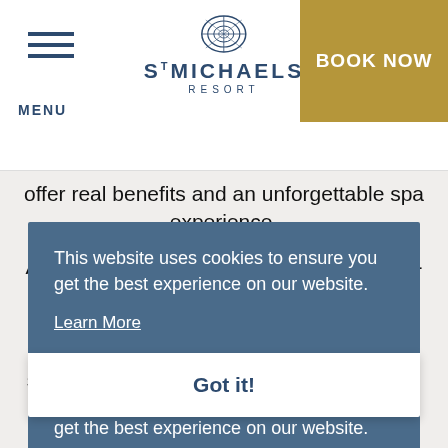MENU | S'MICHAELS RESORT | BOOK NOW
offer real benefits and an unforgettable spa experience.
All our spa days aside from our Mother-To-Be Package also include a 2-hour complimentary Hydrothermal Experience including access to our hydrotherapy pool, sauna, steam rooms, experience showers, outdoor barrel sauna and hot tub. Most of our spa days will include... please note marked spa days have a £10 reduction from Monday-Thursday.
This website uses cookies to ensure you get the best experience on our website.
Learn More
Got it!